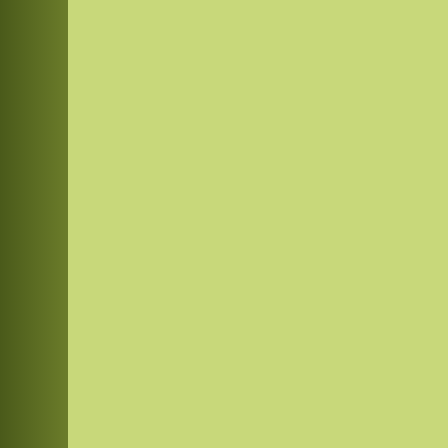[Figure (photo): Left panel with dark olive/green gradient on far left and light lime-green rectangular block occupying center-left portion of the page]
Henley's sub festival line up fo...
Midsomer Murders and all abo...
Midsomer Murders and the cas...
Waterperry Gardeners' lives ho...
Midsomer Murders: Fowl play o...
Henley meets TV's 'Jesus of N...
Watching the birds of Waterpe...
Midsomer millionaire's time cap...
Household comedy names cor...
24 evenings of Christmas fun i...
Dulcie Grey and Wallingford –...
More Xmas fun in South Oxfor...
Top 10 Midsomer Murders – P...
EastEnders star to light up Tha...